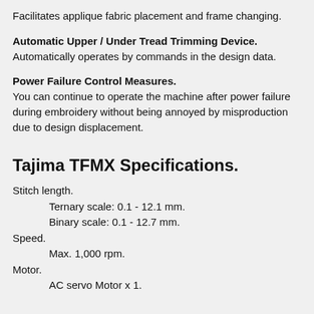Facilitates applique fabric placement and frame changing.
Automatic Upper / Under Tread Trimming Device.
Automatically operates by commands in the design data.
Power Failure Control Measures.
You can continue to operate the machine after power failure during embroidery without being annoyed by misproduction due to design displacement.
Tajima TFMX Specifications.
Stitch length.
Ternary scale: 0.1 - 12.1 mm.
Binary scale: 0.1 - 12.7 mm.
Speed.
Max. 1,000 rpm.
Motor.
AC servo Motor x 1.